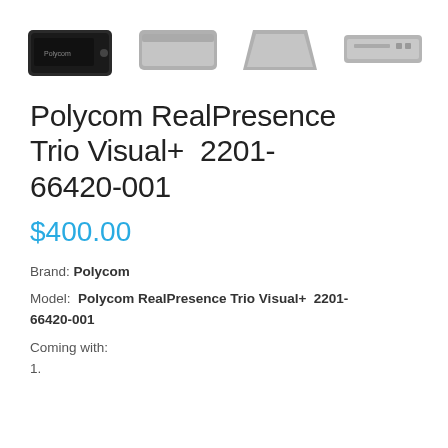[Figure (photo): Four product images of Polycom RealPresence Trio Visual+ devices shown in a horizontal row. First image is a dark/black unit, the remaining three are lighter gray units of varying angles.]
Polycom RealPresence Trio Visual+  2201-66420-001
$400.00
Brand: Polycom
Model:  Polycom RealPresence Trio Visual+  2201-66420-001
Coming with:
1.